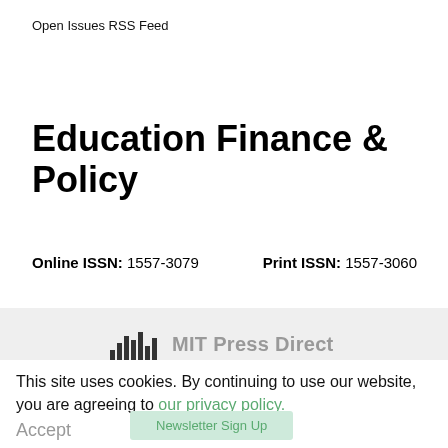Open Issues RSS Feed
Education Finance & Policy
Online ISSN: 1557-3079    Print ISSN: 1557-3060
[Figure (logo): MIT Press Direct logo with bar chart icon and text 'MIT Press Direct' and subtitle 'A product of The MIT Press']
This site uses cookies. By continuing to use our website, you are agreeing to our privacy policy.
Accept
Newsletter Sign Up